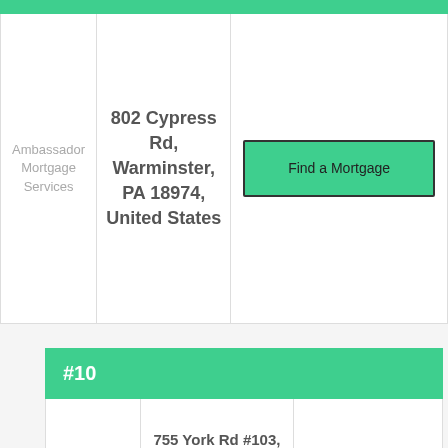| Name | Address | Action |
| --- | --- | --- |
| Ambassador Mortgage Services | 802 Cypress Rd, Warminster, PA 18974, United States | Find a Mortgage |
#10
| Name | Address | Action |
| --- | --- | --- |
|  | 755 York Rd #103, |  |